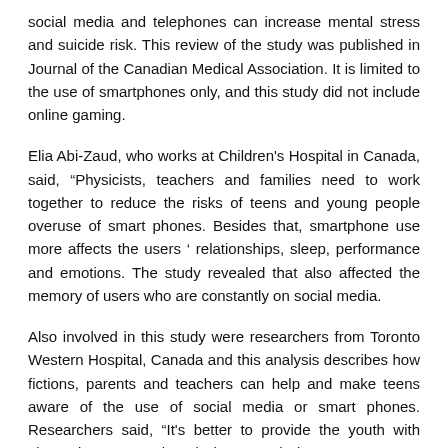social media and telephones can increase mental stress and suicide risk. This review of the study was published in Journal of the Canadian Medical Association. It is limited to the use of smartphones only, and this study did not include online gaming.
Elia Abi-Zaud, who works at Children's Hospital in Canada, said, “Physicists, teachers and families need to work together to reduce the risks of teens and young people overuse of smart phones. Besides that, smartphone use more affects the users’ relationships, sleep, performance and emotions. The study revealed that also affected the memory of users who are constantly on social media.
Also involved in this study were researchers from Toronto Western Hospital, Canada and this analysis describes how fictions, parents and teachers can help and make teens aware of the use of social media or smart phones. Researchers said, “It's better to provide the youth with alternative structural work than to ask them to stay away from social media or decrease their use, in which they feel inclined.” This will create a better environment.